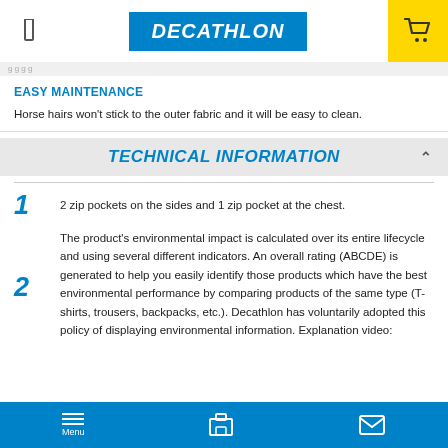DECATHLON
EASY MAINTENANCE
Horse hairs won't stick to the outer fabric and it will be easy to clean.
TECHNICAL INFORMATION
1  2 zip pockets on the sides and 1 zip pocket at the chest.
2  The product's environmental impact is calculated over its entire lifecycle and using several different indicators. An overall rating (ABCDE) is generated to help you easily identify those products which have the best environmental performance by comparing products of the same type (T-shirts, trousers, backpacks, etc.). Decathlon has voluntarily adopted this policy of displaying environmental information. Explanation video:
Menu